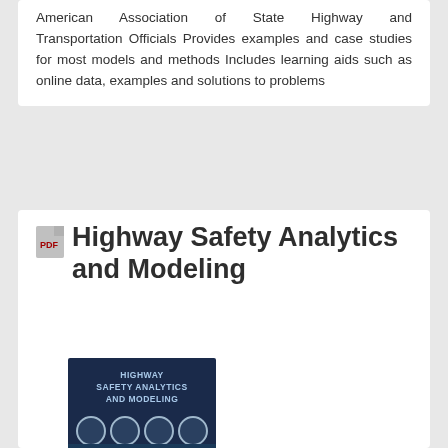American Association of State Highway and Transportation Officials Provides examples and case studies for most models and methods Includes learning aids such as online data, examples and solutions to problems
Highway Safety Analytics and Modeling
[Figure (photo): Book cover of 'Highway Safety Analytics and Modeling' with dark navy blue background, circular image thumbnails at top, and smart city/highway aerial imagery with connected technology icons]